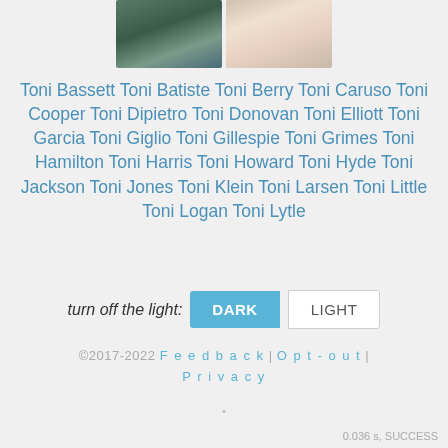[Figure (photo): Two portrait photos side by side: a young dark-skinned girl on the left, and a light-skinned smiling woman on the right]
Toni Bassett Toni Batiste Toni Berry Toni Caruso Toni Cooper Toni Dipietro Toni Donovan Toni Elliott Toni Garcia Toni Giglio Toni Gillespie Toni Grimes Toni Hamilton Toni Harris Toni Howard Toni Hyde Toni Jackson Toni Jones Toni Klein Toni Larsen Toni Little Toni Logan Toni Lytle
turn off the light: DARK LIGHT
©2017-2022 Feedback | Opt-out | Privacy
0.036 s, SUCCESS